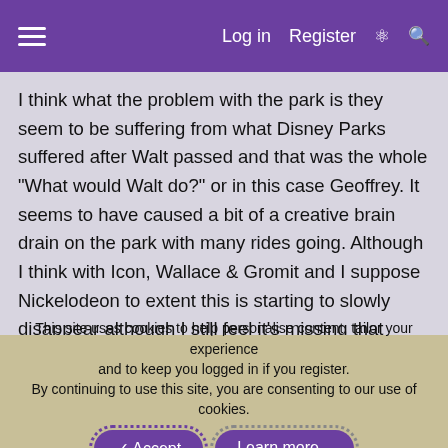Log in  Register
I think what the problem with the park is they seem to be suffering from what Disney Parks suffered after Walt passed and that was the whole "What would Walt do?" or in this case Geoffrey. It seems to have caused a bit of a creative brain drain on the park with many rides going. Although I think with Icon, Wallace & Gromit and I suppose Nickelodeon to extent this is starting to slowly disappear although I still feel it's missing that magic I used to experience as a kid! I think Geoffrey was one of kind with a lot of unique ideas.
This site uses cookies to help personalise content, tailor your experience and to keep you logged in if you register.
By continuing to use this site, you are consenting to our use of cookies.
✓ Accept
Learn more...